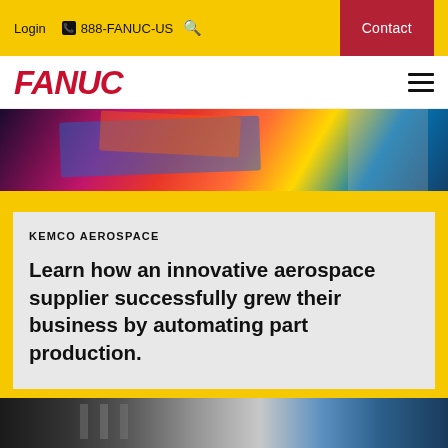Login  888-FANUC-US  Contact
[Figure (logo): FANUC logo in red italic bold text with hamburger menu icon]
[Figure (photo): Close-up photo of colorful aerospace composite materials being worked on by hands, with pink, blue, yellow and orange colors visible]
KEMCO AEROSPACE
Learn how an innovative aerospace supplier successfully grew their business by automating part production.
[Figure (photo): Industrial manufacturing facility interior showing machinery and equipment in dark industrial setting]